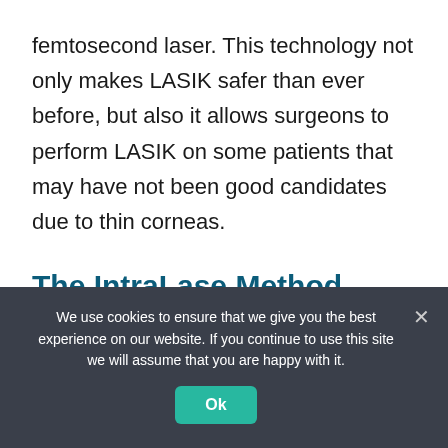femtosecond laser. This technology not only makes LASIK safer than ever before, but also it allows surgeons to perform LASIK on some patients that may have not been good candidates due to thin corneas.
The IntraLase Method Means Truly Blade-Free LASIK
We use cookies to ensure that we give you the best experience on our website. If you continue to use this site we will assume that you are happy with it.